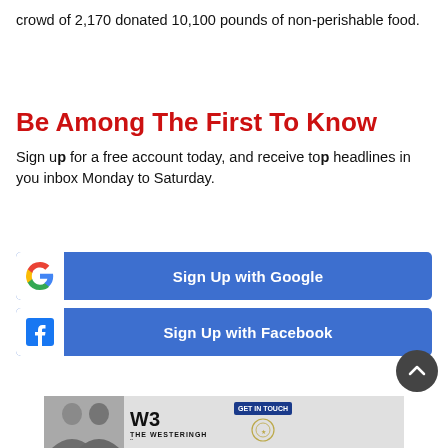crowd of 2,170 donated 10,100 pounds of non-perishable food.
Be Among The First To Know
Sign up for a free account today, and receive top headlines in you inbox Monday to Saturday.
[Figure (other): Sign Up with Google button — blue button with Google G logo on white icon, white text 'Sign Up with Google']
[Figure (other): Sign Up with Facebook button — blue button with Facebook F logo on white icon, white text 'Sign Up with Facebook']
[Figure (other): Scroll-to-top circular dark button with upward chevron arrow]
[Figure (other): Advertisement banner for The Westeringh Brothers Team with two men in suits, WB logo, and 'GET IN TOUCH' button with emblem]